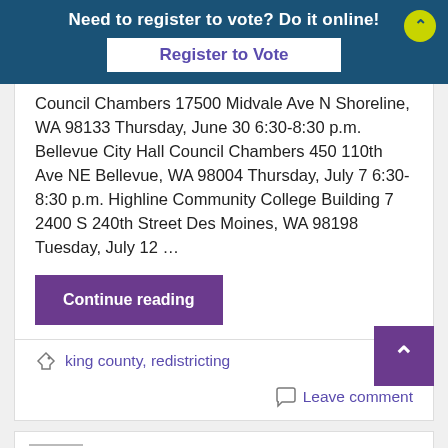Need to register to vote? Do it online!
Register to Vote
Council Chambers 17500 Midvale Ave N Shoreline, WA 98133 Thursday, June 30 6:30-8:30 p.m. Bellevue City Hall Council Chambers 450 110th Ave NE Bellevue, WA 98004 Thursday, July 7 6:30-8:30 p.m. Highline Community College Building 7 2400 S 240th Street Des Moines, WA 98198 Tuesday, July 12 …
Continue reading
king county, redistricting
Leave comment
King County Redistricting –